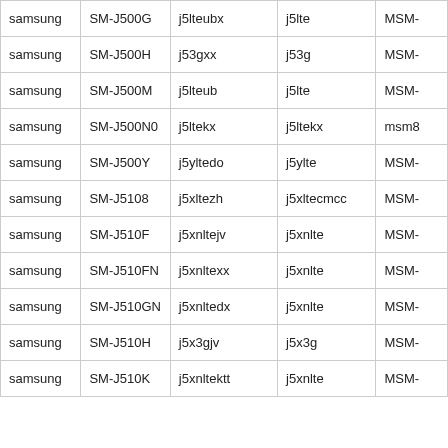| Brand | Model | Build | Device | SoC |
| --- | --- | --- | --- | --- |
| samsung | SM-J500G | j5lteubx | j5lte | MSM- |
| samsung | SM-J500H | j53gxx | j53g | MSM- |
| samsung | SM-J500M | j5lteub | j5lte | MSM- |
| samsung | SM-J500N0 | j5ltekx | j5ltekx | msm8 |
| samsung | SM-J500Y | j5yltedo | j5ylte | MSM- |
| samsung | SM-J5108 | j5xltezh | j5xltecmcc | MSM- |
| samsung | SM-J510F | j5xnltejv | j5xnlte | MSM- |
| samsung | SM-J510FN | j5xnltexx | j5xnlte | MSM- |
| samsung | SM-J510GN | j5xnltedx | j5xnlte | MSM- |
| samsung | SM-J510H | j5x3gjv | j5x3g | MSM- |
| samsung | SM-J510K | j5xnltektt | j5xnlte | MSM- |